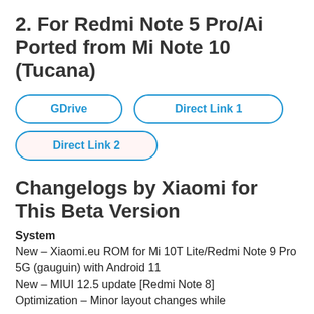2. For Redmi Note 5 Pro/Ai Ported from Mi Note 10 (Tucana)
[Figure (other): Three pill-shaped buttons with blue borders and blue bold text: GDrive, Direct Link 1, Direct Link 2]
Changelogs by Xiaomi for This Beta Version
System
New – Xiaomi.eu ROM for Mi 10T Lite/Redmi Note 9 Pro 5G (gauguin) with Android 11
New – MIUI 12.5 update [Redmi Note 8]
Optimization – Minor layout changes while